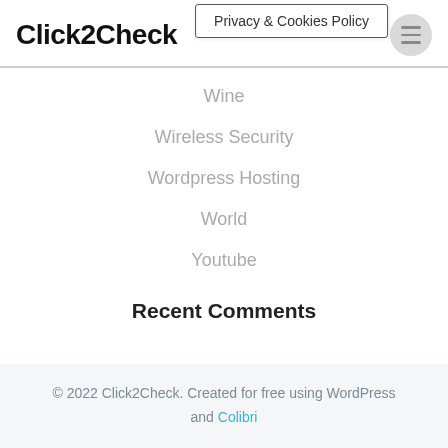Click2Check
Privacy & Cookies Policy
Wine
Wireless Security
Wordpress Hosting
World
Youtube
Recent Comments
© 2022 Click2Check. Created for free using WordPress and Colibri